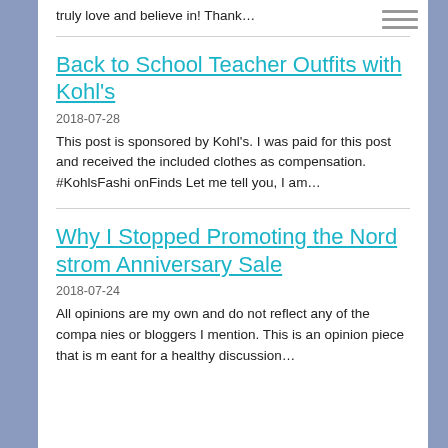truly love and believe in! Thank…
Back to School Teacher Outfits with Kohl's
2018-07-28
This post is sponsored by Kohl's. I was paid for this post and received the included clothes as compensation. #KohlsFashionFinds Let me tell you, I am…
Why I Stopped Promoting the Nordstrom Anniversary Sale
2018-07-24
All opinions are my own and do not reflect any of the companies or bloggers I mention. This is an opinion piece that is meant for a healthy discussion…